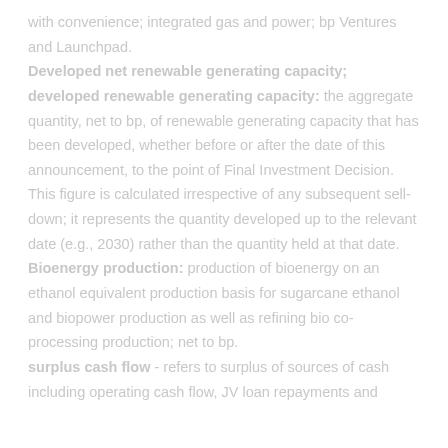with convenience; integrated gas and power; bp Ventures and Launchpad.
Developed net renewable generating capacity; developed renewable generating capacity: the aggregate quantity, net to bp, of renewable generating capacity that has been developed, whether before or after the date of this announcement, to the point of Final Investment Decision. This figure is calculated irrespective of any subsequent sell-down; it represents the quantity developed up to the relevant date (e.g., 2030) rather than the quantity held at that date.
Bioenergy production: production of bioenergy on an ethanol equivalent production basis for sugarcane ethanol and biopower production as well as refining bio co-processing production; net to bp.
surplus cash flow - refers to surplus of sources of cash including operating cash flow, JV loan repayments and